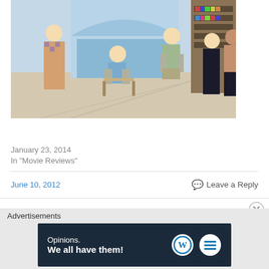[Figure (photo): Movie still from The Wolf of Wall Street showing several people in a bright room with large windows overlooking the ocean. Characters include a woman in patterned dress, a man seated, two standing men, and a woman in black dress.]
[Review] The Wolf Of Wall Street (2013) by Bede Jermyn
January 23, 2014
In "Movie Reviews"
June 10, 2012
Leave a Reply
Advertisements
[Figure (screenshot): WordPress advertisement banner with dark navy background. Text reads 'Opinions. We all have them!' with WordPress logo and another circular logo on the right.]